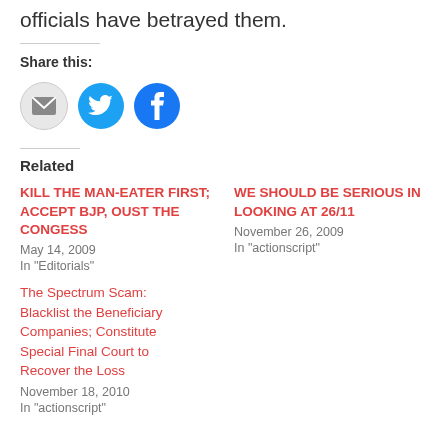officials have betrayed them.
Share this:
[Figure (illustration): Share icons: email (grey circle), Twitter (blue circle with bird), Facebook (blue circle with f)]
Related
KILL THE MAN-EATER FIRST; ACCEPT BJP, OUST THE CONGESS
May 14, 2009
In "Editorials"
WE SHOULD BE SERIOUS IN LOOKING AT 26/11
November 26, 2009
In "actionscript"
The Spectrum Scam: Blacklist the Beneficiary Companies; Constitute Special Final Court to Recover the Loss
November 18, 2010
In "actionscript"